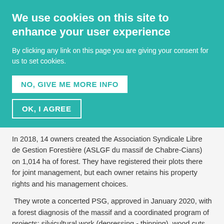We use cookies on this site to enhance your user experience
By clicking any link on this page you are giving your consent for us to set cookies.
NO, GIVE ME MORE INFO
OK, I AGREE
In 2018, 14 owners created the Association Syndicale Libre de Gestion Forestière (ASLGF du massif de Chabre-Cians) on 1,014 ha of forest. They have registered their plots there for joint management, but each owner retains his property rights and his management choices.
They wrote a concerted PSG, approved in January 2020, with a forest diagnosis of the massif and a coordinated program of projects: silvicultural work (depressing - thinning), wood cuts, sanitary cutting,